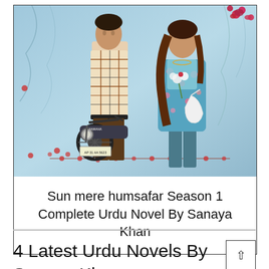[Figure (photo): A couple standing together: a young man in a plaid shirt leaning on a Yamaha motorcycle (plate AP 31 AA 5623), and a young woman in a floral blue outfit holding flowers, against a decorative bokeh background with floral motifs]
Sun mere humsafar Season 1 Complete Urdu Novel By Sanaya Khan
4 Latest Urdu Novels By Sanaya Khan